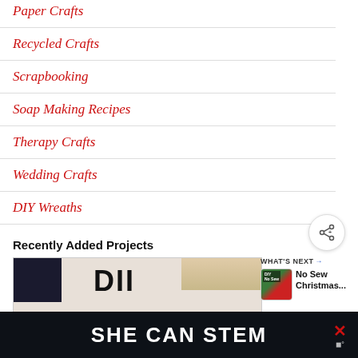Paper Crafts
Recycled Crafts
Scrapbooking
Soap Making Recipes
Therapy Crafts
Wedding Crafts
DIY Wreaths
Recently Added Projects
[Figure (photo): DIY Buffalo Check craft project thumbnail image]
[Figure (infographic): What's Next panel showing No Sew Christmas... article preview]
SHE CAN STEM